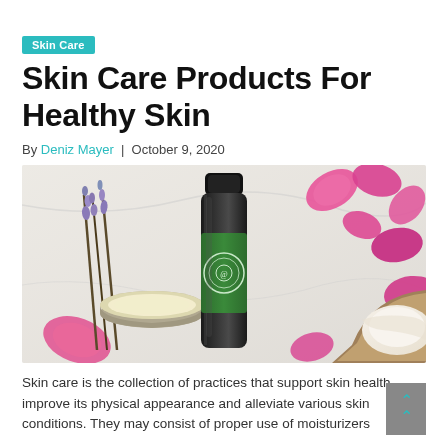Skin Care
Skin Care Products For Healthy Skin
By Deniz Mayer | October 9, 2020
[Figure (photo): Flat lay photo of skin care products on marble surface: dark bottle with green label, small tin of balm, lavender sprigs, pink rose petals, and half coconut]
Skin care is the collection of practices that support skin health, improve its physical appearance and alleviate various skin conditions. They may consist of proper use of moisturizers